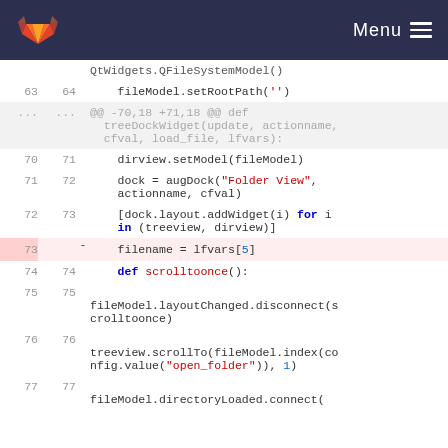GitLab Menu
[Figure (screenshot): Code diff view showing Python source code lines 63-77 with line numbers, one deleted line (73) highlighted in red/pink background]
QtWidgets.QFileSystemModel()
63  64      fileModel.setRootPath('')
...  ...  @@ -70,18 +71,18 @@ def treeDockWidget(update, actionname, cfval, load_file, lfvars):
70  71      dirview.setModel(fileModel)
71  72      dock = augDock("Folder View", actionname, cfval)
72  73      [dock.layout.addWidget(i) for i in (treeview, dirview)]
73      -   filename = lfvars[5]
74  74      def scrolltoonce():
75  75
fileModel.layoutChanged.disconnect(scrolltoonce)
76  76
treeview.scrollTo(fileModel.index(config.value("open_folder")), 1)
77  77
fileModel.directoryLoaded.connect(